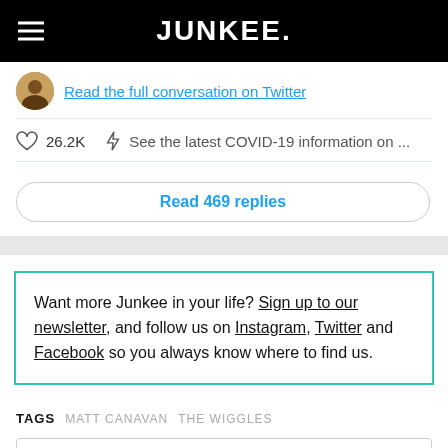JUNKEE.
Read the full conversation on Twitter
26.2K   See the latest COVID-19 information on ...
Read 469 replies
Want more Junkee in your life? Sign up to our newsletter, and follow us on Instagram, Twitter and Facebook so you always know where to find us.
TAGS  MATT CANAVAN  THE WIGGLES
COMMENTS